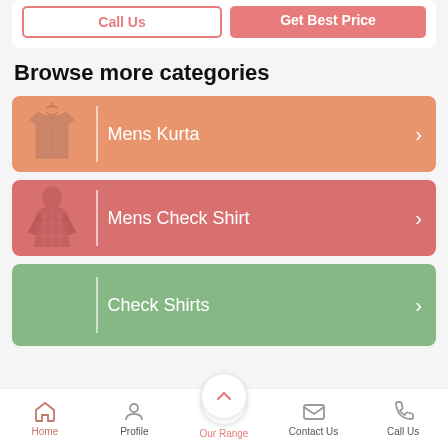[Figure (screenshot): Partial view of two buttons: 'Call Us' (outlined red) and 'Get Best Price' (solid red/pink)]
Browse more categories
[Figure (illustration): Category card with peach/orange background showing a Mens Kurta thumbnail and chevron arrow]
[Figure (illustration): Category card with rose/pink background showing a Mens Check Shirt thumbnail and chevron arrow]
[Figure (illustration): Category card with green background showing Check Shirts label and chevron arrow]
Home  Profile  Our Range  Contact Us  Call Us